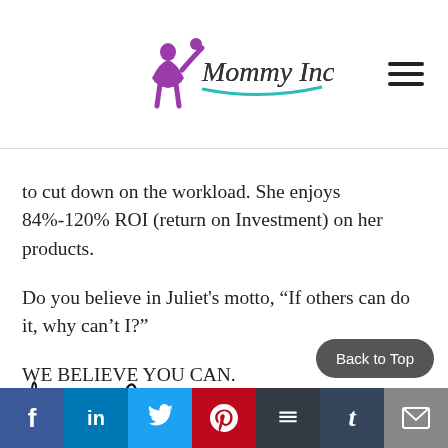Mommy Income
to cut down on the workload. She enjoys 84%-120% ROI (return on Investment) on her products.
Do you believe in Juliet's motto, “If others can do it, why can’t I?”
WE BELIEVE YOU CAN.
[Figure (illustration): Handwritten signature reading 'Kristin & Amy']
Back to Top
Social share bar with Facebook, LinkedIn, Twitter, Pinterest, Buffer, Tumblr, Email icons